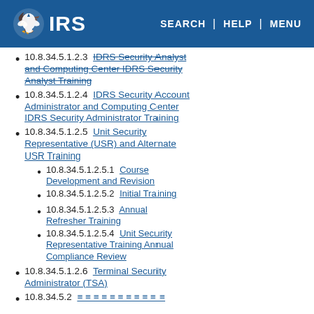IRS | SEARCH | HELP | MENU
10.8.34.5.1.2.3 IDRS Security Analyst and Computing Center IDRS Security Analyst Training
10.8.34.5.1.2.4 IDRS Security Account Administrator and Computing Center IDRS Security Administrator Training
10.8.34.5.1.2.5 Unit Security Representative (USR) and Alternate USR Training
10.8.34.5.1.2.5.1 Course Development and Revision
10.8.34.5.1.2.5.2 Initial Training
10.8.34.5.1.2.5.3 Annual Refresher Training
10.8.34.5.1.2.5.4 Unit Security Representative Training Annual Compliance Review
10.8.34.5.1.2.6 Terminal Security Administrator (TSA)
10.8.34.5.2 ≡ ≡ ≡ ≡ ≡ ≡ ≡ ≡ ≡ ≡ ≡